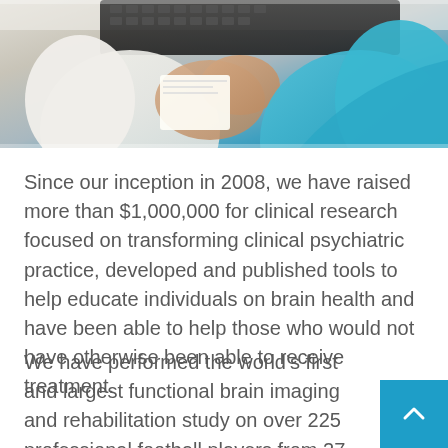[Figure (photo): Medical professional in white coat and person in teal/blue scrubs at a keyboard, showing hands and upper body, clinical setting]
Since our inception in 2008, we have raised more than $1,000,000 for clinical research focused on transforming clinical psychiatric practice, developed and published tools to help educate individuals on brain health and have been able to help those who would not have otherwise been able to receive treatment.
We have performed the world’s first and largest functional brain imaging and rehabilitation study on over 225 professional football players from 27 teams and all positions. We have published four scientific